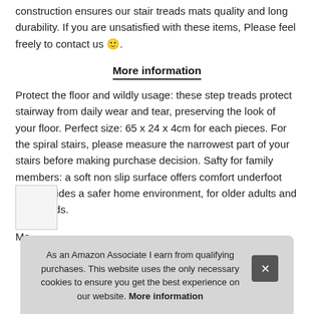construction ensures our stair treads mats quality and long durability. If you are unsatisfied with these items, Please feel freely to contact us 🙂.
More information
Protect the floor and wildly usage: these step treads protect stairway from daily wear and tear, preserving the look of your floor. Perfect size: 65 x 24 x 4cm for each pieces. For the spiral stairs, please measure the narrowest part of your stairs before making purchase decision. Safty for family members: a soft non slip surface offers comfort underfoot and provides a safer home environment, for older adults and young kids.
As an Amazon Associate I earn from qualifying purchases. This website uses the only necessary cookies to ensure you get the best experience on our website. More information